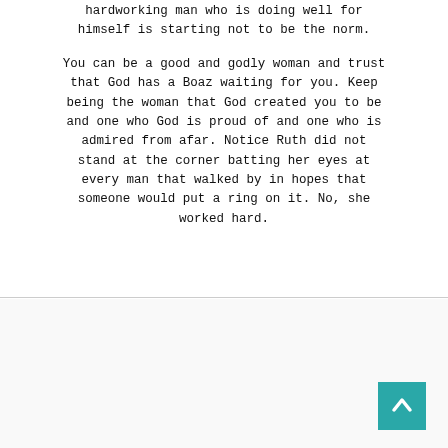hardworking man who is doing well for himself is starting not to be the norm.
You can be a good and godly woman and trust that God has a Boaz waiting for you. Keep being the woman that God created you to be and one who God is proud of and one who is admired from afar. Notice Ruth did not stand at the corner batting her eyes at every man that walked by in hopes that someone would put a ring on it. No, she worked hard.